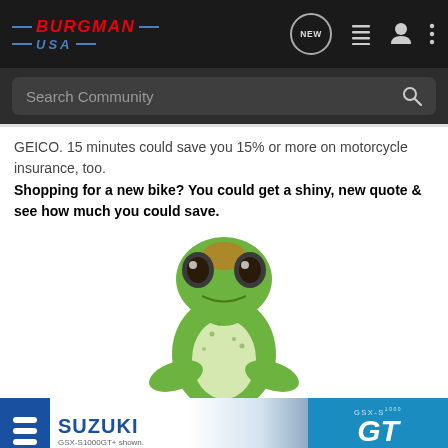[Figure (logo): Burgman USA logo in red italic text with blue decorative lines and USA text]
Search Community
GEICO. 15 minutes could save you 15% or more on motorcycle insurance, too.
Shopping for a new bike? You could get a shiny, new quote & see how much you could save.
[Figure (illustration): GEICO gecko mascot — green lizard looking forward with arms resting on surface]
[Figure (illustration): Suzuki GSX-S1000 GT advertisement banner at bottom with blue background and motorcycle image]